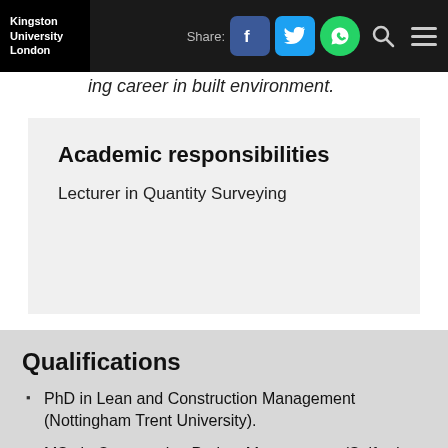Kingston University London | Share: [Facebook] [Twitter] [WhatsApp] [Search] [Menu]
ing career in built environment.
Academic responsibilities
Lecturer in Quantity Surveying
Qualifications
PhD in Lean and Construction Management (Nottingham Trent University).
MSc in Construction Project Management (Salford University Manchester).